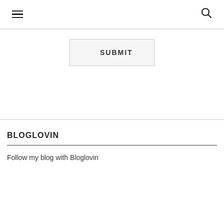☰ 🔍
SUBMIT
BLOGLOVIN
Follow my blog with Bloglovin